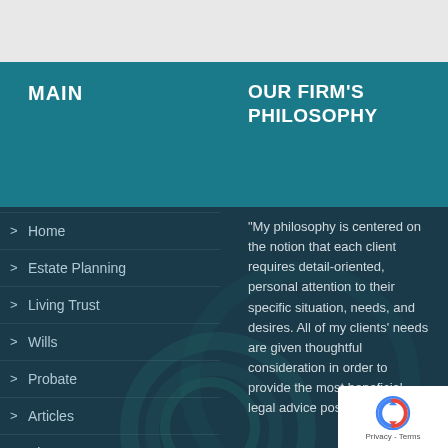MAIN
OUR FIRM'S PHILOSOPHY
Home
Estate Planning
Living Trust
Wills
Probate
Articles
About Us
Get In Touch
"My philosophy is centered on the notion that each client requires detail-oriented, personal attention to their specific situation, needs, and desires. All of my clients' needs are given thoughtful consideration in order to provide the most beneficial legal advice possible to serve